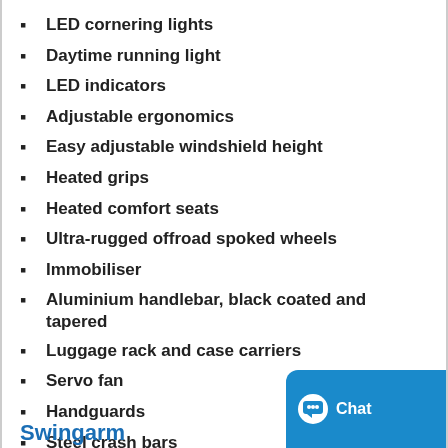LED cornering lights
Daytime running light
LED indicators
Adjustable ergonomics
Easy adjustable windshield height
Heated grips
Heated comfort seats
Ultra-rugged offroad spoked wheels
Immobiliser
Aluminium handlebar, black coated and tapered
Luggage rack and case carriers
Servo fan
Handguards
Steel crash bars
Side and centre stand
Swingarm